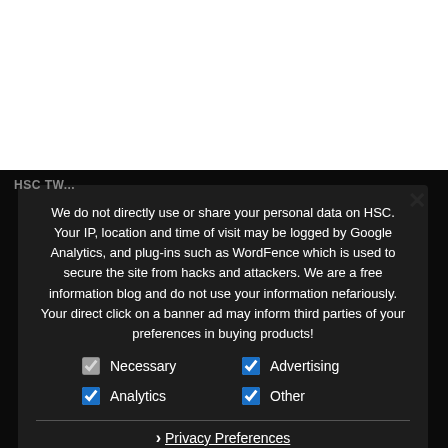We do not directly use or share your personal data on HSC. Your IP, location and time of visit may be logged by Google Analytics, and plug-ins such as WordFence which is used to secure the site from hacks and attackers. We are a free information blog and do not use your information nefariously. Your direct click on a banner ad may inform third parties of your preferences in buying products!
Necessary (checkbox, greyed) | Advertising (checkbox, checked)
Analytics (checkbox, checked) | Other (checkbox, checked)
› Privacy Preferences
I Agree